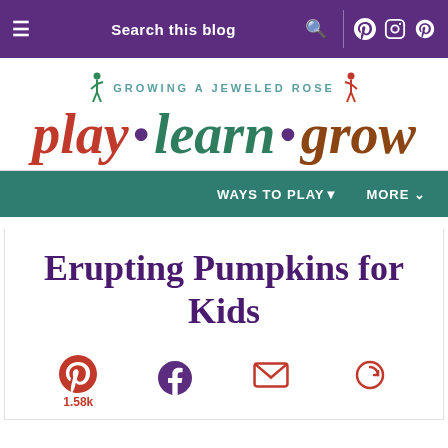Search this blog
[Figure (logo): Growing a Jeweled Rose – play · learn · grow logo with colorful illustrated children figures]
WAYS TO PLAY▼   MORE ∨
Erupting Pumpkins for Kids
1.58k (Pinterest shares)